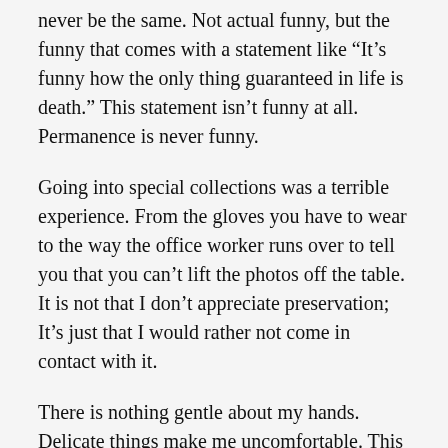never be the same. Not actual funny, but the funny that comes with a statement like “It’s funny how the only thing guaranteed in life is death.” This statement isn’t funny at all. Permanence is never funny.
Going into special collections was a terrible experience. From the gloves you have to wear to the way the office worker runs over to tell you that you can’t lift the photos off the table. It is not that I don’t appreciate preservation; It’s just that I would rather not come in contact with it.
There is nothing gentle about my hands. Delicate things make me uncomfortable. This is why I avoid holding things like newly born children.
Standing over the very large photos as they lay on the